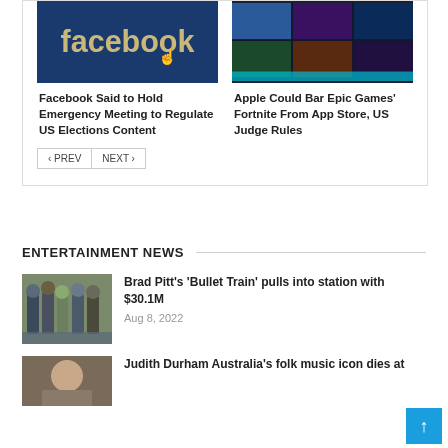[Figure (photo): Facebook logo on a phone screen with blue background]
[Figure (screenshot): Fortnite app store screenshot with game character and item grid]
Facebook Said to Hold Emergency Meeting to Regulate US Elections Content
Apple Could Bar Epic Games’ Fortnite From App Store, US Judge Rules
< PREV
NEXT >
ENTERTAINMENT NEWS
[Figure (photo): Group of people posing at Bullet Train premiere]
Brad Pitt’s ‘Bullet Train’ pulls into station with $30.1M
Aug 8, 2022
[Figure (photo): Judith Durham headshot]
Judith Durham Australia’s folk music icon dies at